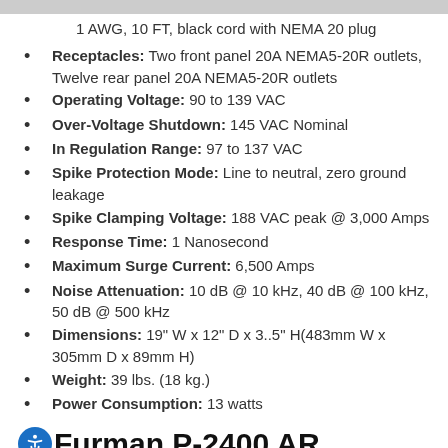...1 AWG, 10 FT, black cord with NEMA 20 plug
Receptacles: Two front panel 20A NEMA5-20R outlets, Twelve rear panel 20A NEMA5-20R outlets
Operating Voltage: 90 to 139 VAC
Over-Voltage Shutdown: 145 VAC Nominal
In Regulation Range: 97 to 137 VAC
Spike Protection Mode: Line to neutral, zero ground leakage
Spike Clamping Voltage: 188 VAC peak @ 3,000 Amps
Response Time: 1 Nanosecond
Maximum Surge Current: 6,500 Amps
Noise Attenuation: 10 dB @ 10 kHz, 40 dB @ 100 kHz, 50 dB @ 500 kHz
Dimensions: 19" W x 12" D x 3..5" H(483mm W x 305mm D x 89mm H)
Weight: 39 lbs. (18 kg.)
Power Consumption: 13 watts
Furman P-2400 AR Voltage Regulator Includes